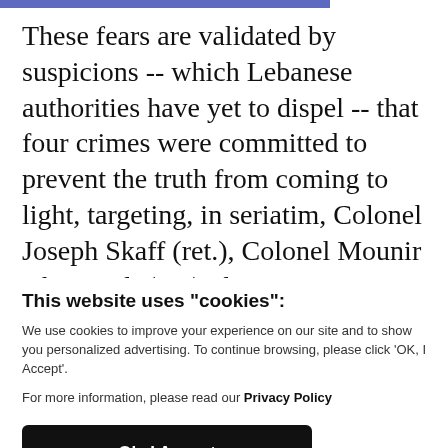These fears are validated by suspicions -- which Lebanese authorities have yet to dispel -- that four crimes were committed to prevent the truth from coming to light, targeting, in seriatim, Colonel Joseph Skaff (ret.), Colonel Mounir Abu Rjaili (ret.), the
This website uses "cookies":
We use cookies to improve your experience on our site and to show you personalized advertising. To continue browsing, please click 'OK, I Accept'.
For more information, please read our Privacy Policy
Ok, I Accept